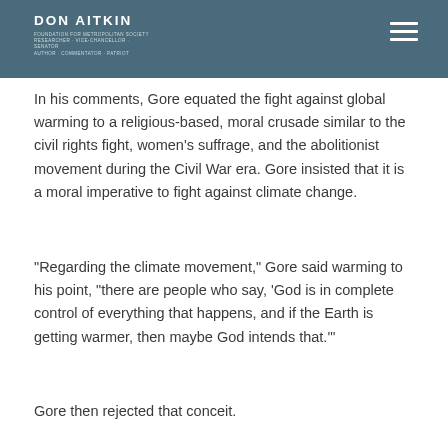DON AITKIN
In his comments, Gore equated the fight against global warming to a religious-based, moral crusade similar to the civil rights fight, women's suffrage, and the abolitionist movement during the Civil War era. Gore insisted that it is a moral imperative to fight against climate change.
“Regarding the climate movement,” Gore said warming to his point, “there are people who say, ‘God is in complete control of everything that happens, and if the Earth is getting warmer, then maybe God intends that.’”
Gore then rejected that conceit.
“Well, no,” the million-dollar mansion-owing former vice insisted, “God intends for us to take responsibility